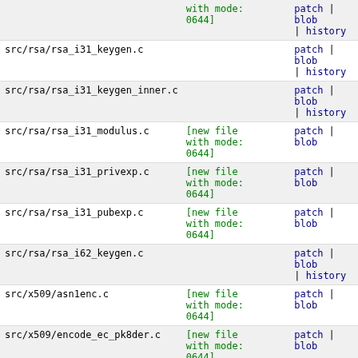| File | Status | Links |
| --- | --- | --- |
|  | with mode:
0644] | patch | blob | history |
| src/rsa/rsa_i31_keygen.c |  | patch | blob | history |
| src/rsa/rsa_i31_keygen_inner.c |  | patch | blob | history |
| src/rsa/rsa_i31_modulus.c | [new file
with mode:
0644] | patch | blob |
| src/rsa/rsa_i31_privexp.c | [new file
with mode:
0644] | patch | blob |
| src/rsa/rsa_i31_pubexp.c | [new file
with mode:
0644] | patch | blob |
| src/rsa/rsa_i62_keygen.c |  | patch | blob | history |
| src/x509/asn1enc.c | [new file
with mode:
0644] | patch | blob |
| src/x509/encode_ec_pk8der.c | [new file
with mode:
0644] | patch | blob |
| src/x509/encode_ec_rawder.c | [new file
with mode:
0644] | patch | blob |
| src/x509/encode_rsa_pk8der.c | [new file
with mode:
0644] | patch | blob |
| src/x509/encode_rsa_rawder.c | [new file | patch | blob |